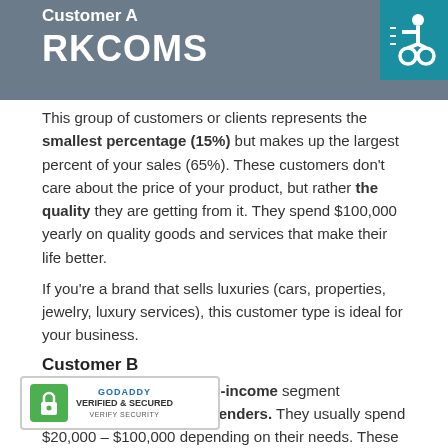Customer A — RKCOMS
This group of customers or clients represents the smallest percentage (15%) but makes up the largest percent of your sales (65%). These customers don't care about the price of your product, but rather the quality they are getting from it. They spend $100,000 yearly on quality goods and services that make their life better.
If you're a brand that sells luxuries (cars, properties, jewelry, luxury services), this customer type is ideal for your business.
Customer B
The B Category or the mid-income segment comprises of the smart spenders. They usually spend $20,000 – $100,000 depending on their needs. These types have the money to buy products and services but tend to be really be smart about where to spend it.